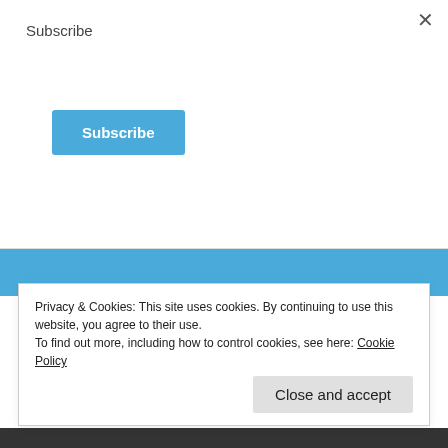Subscribe
Subscribe (button)
We've also put this design on a poster, coffee mug, a stainless steel water bottle, phone cases, and a few other products.
Enjoy one of our YouTube Playlists
Privacy & Cookies: This site uses cookies. By continuing to use this website, you agree to their use.
To find out more, including how to control cookies, see here: Cookie Policy
Close and accept